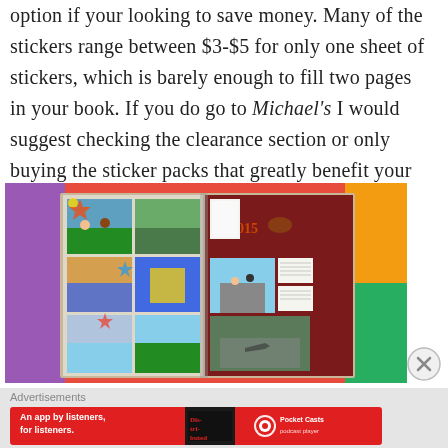option if your looking to save money. Many of the stickers range between $3-$5 for only one sheet of stickers, which is barely enough to fill two pages in your book. If you do go to Michael's I would suggest checking the clearance section or only buying the sticker packs that greatly benefit your project goals.
[Figure (photo): Open scrapbook with vacation photos, stickers, and decorations on left page, and a dark red page with 2015 text and school/document photos on right page]
Advertisements
[Figure (screenshot): Pocket Casts advertisement banner: 'An app by listeners, for listeners.' with app icon and Pocket Casts logo on red background]